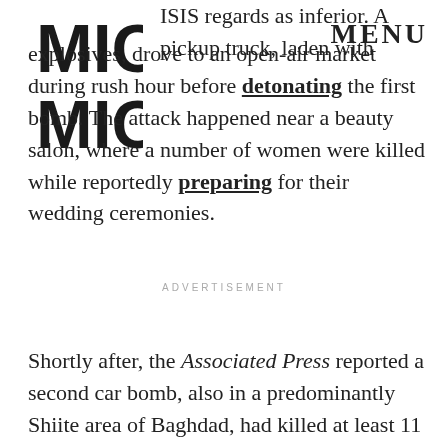MIC (logo) | MENU
ISIS regards as inferior. A pickup truck, laden with explosives, drove to an open-air market during rush hour before detonating the first bomb. The attack happened near a beauty salon, where a number of women were killed while reportedly preparing for their wedding ceremonies.
ADVERTISEMENT
Shortly after, the Associated Press reported a second car bomb, also in a predominantly Shiite area of Baghdad, had killed at least 11 people and injured 32.